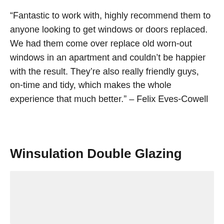“Fantastic to work with, highly recommend them to anyone looking to get windows or doors replaced. We had them come over replace old worn-out windows in an apartment and couldn’t be happier with the result. They’re also really friendly guys, on-time and tidy, which makes the whole experience that much better.” – Felix Eves-Cowell
Winsulation Double Glazing
[Figure (other): Light gray rectangular image placeholder area below the section header]